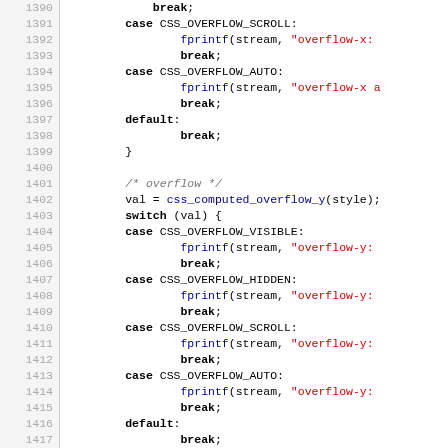Source code listing lines 1390-1419, C code with switch statements for CSS overflow properties